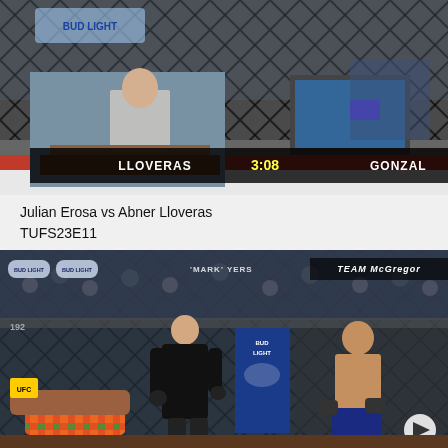[Figure (screenshot): MMA fight video screenshot showing two fighters in an octagon cage with a scoreboard overlay reading LLOVERAS 3:08 GONZAL]
Julian Erosa vs Abner Lloveras
TUFS23E11
[Figure (screenshot): MMA fight video screenshot showing fighters in octagon with referee, Team McGregor branding visible, Bud Light sponsorship banners]